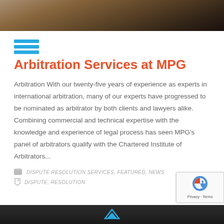[Figure (photo): Header photo showing a person working at a desk with a laptop, warm toned]
Arbitration Services at MPG
Arbitration With our twenty-five years of experience as experts in international arbitration, many of our experts have progressed to be nominated as arbitrator by both clients and lawyers alike. Combining commercial and technical expertise with the knowledge and experience of legal process has seen MPG's panel of arbitrators qualify with the Chartered Institute of Arbitrators...
DISPUTE RESOLUTION SERVICES, FEATURED, NEWS
DISPUTE, RESOLUTION
[Figure (photo): Dark footer area with MPG logo]